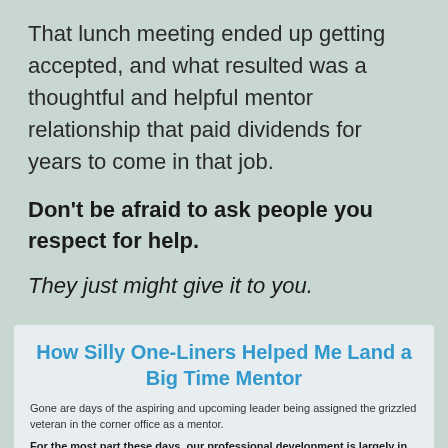That lunch meeting ended up getting accepted, and what resulted was a thoughtful and helpful mentor relationship that paid dividends for years to come in that job.
Don't be afraid to ask people you respect for help.
They just might give it to you.
How Silly One-Liners Helped Me Land a Big Time Mentor
Gone are days of the aspiring and upcoming leader being assigned the grizzled veteran in the corner office as a mentor.
For the most part these days, our professional development is largely in our own hands.